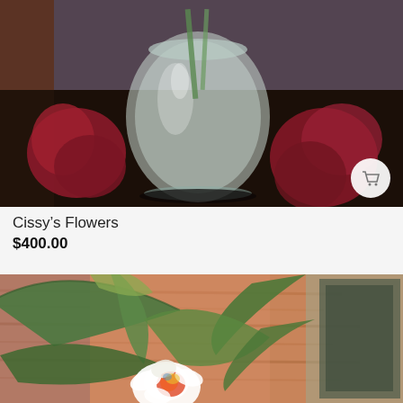[Figure (photo): Painting of Cissy's Flowers — a clear glass vase with flowers on a dark surface, with red/magenta flower petals scattered around, painted in a realistic style. A shopping cart icon button appears in the lower right.]
Cissy's Flowers
$400.00
[Figure (photo): Painting of tropical/orchid flowers with large green leaves against a warm orange-brown wooden background. A white and red orchid-like flower blooms at the center-bottom. Part of a darker framed artwork is visible on the right side.]